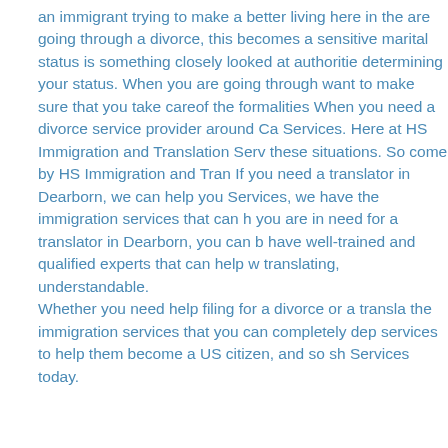an immigrant trying to make a better living here in the are going through a divorce, this becomes a sensitive marital status is something closely looked at authoritie determining your status. When you are going through want to make sure that you take careof the formalities When you need a divorce service provider around Ca Services. Here at HS Immigration and Translation Serv these situations. So come by HS Immigration and Tran If you need a translator in Dearborn, we can help you Services, we have the immigration services that can h you are in need for a translator in Dearborn, you can b have well-trained and qualified experts that can help w translating, understandable. Whether you need help filing for a divorce or a transla the immigration services that you can completely dep services to help them become a US citizen, and so sh Services today.